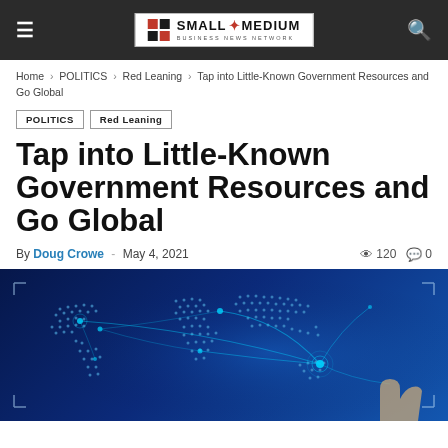Small Medium Business News Network
Home › POLITICS › Red Leaning › Tap into Little-Known Government Resources and Go Global
POLITICS  Red Leaning
Tap into Little-Known Government Resources and Go Global
By Doug Crowe - May 4, 2021  120  0
[Figure (photo): Digital world map with glowing network connection lines and dots, dark blue background, hand pointing at network node]